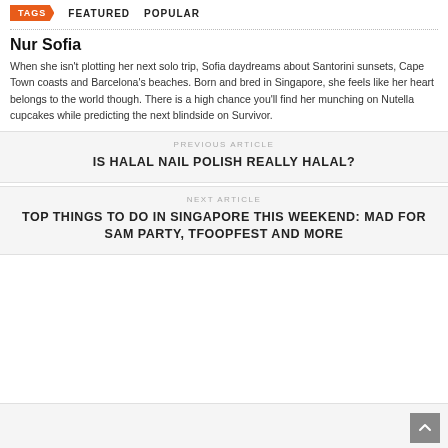TAGS   FEATURED   POPULAR
Nur Sofia
When she isn't plotting her next solo trip, Sofia daydreams about Santorini sunsets, Cape Town coasts and Barcelona's beaches. Born and bred in Singapore, she feels like her heart belongs to the world though. There is a high chance you'll find her munching on Nutella cupcakes while predicting the next blindside on Survivor.
PREVIOUS ARTICLE
IS HALAL NAIL POLISH REALLY HALAL?
NEXT ARTICLE
TOP THINGS TO DO IN SINGAPORE THIS WEEKEND: MAD FOR SAM PARTY, TFOOPFEST AND MORE